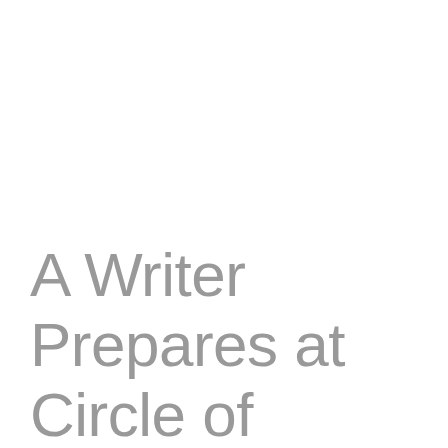A Writer Prepares at Circle of Misse, July 23-29, 2012